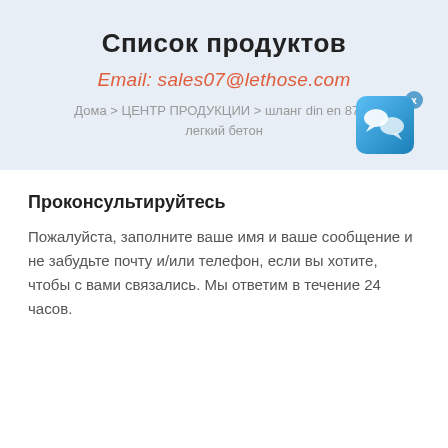Список продуктов
Email: sales07@lethose.com
Дома > ЦЕНТР ПРОДУКЦИИ > шланг din en 8774 легкий бетон
[Figure (illustration): Chat widget icon — blue rounded square with speech bubble icon and close button]
Проконсультируйтесь
Пожалуйста, заполните ваше имя и ваше сообщение и не забудьте почту и/или телефон, если вы хотите, чтобы с вами связались. Мы ответим в течение 24 часов.